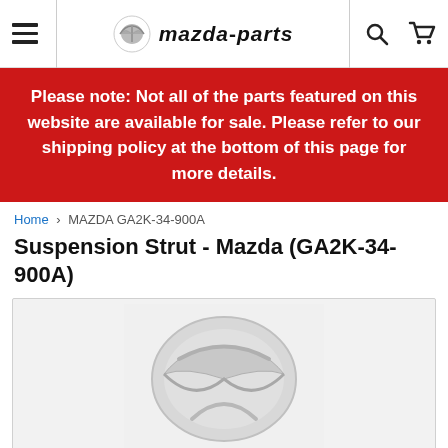mazda-parts navigation header with hamburger menu, Mazda logo, search icon, and cart icon
Please note: Not all of the parts featured on this website are available for sale. Please refer to our shipping policy at the bottom of this page for more details.
Home > MAZDA GA2K-34-900A
Suspension Strut - Mazda (GA2K-34-900A)
[Figure (photo): Mazda logo / suspension strut product photo on light grey background]